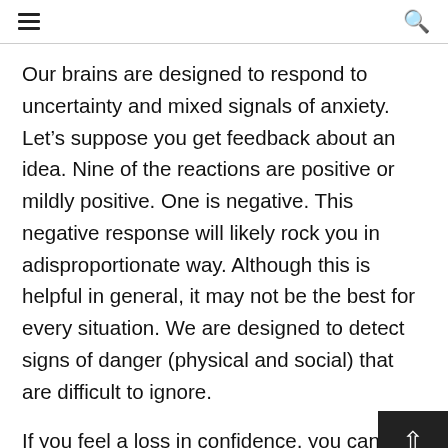≡  🔍
Our brains are designed to respond to uncertainty and mixed signals of anxiety. Let's suppose you get feedback about an idea. Nine of the reactions are positive or mildly positive. One is negative. This negative response will likely rock you in adisproportionate way. Although this is helpful in general, it may not be the best for every situation. We are designed to detect signs of danger (physical and social) that are difficult to ignore.
If you feel a loss in confidence, you can try to